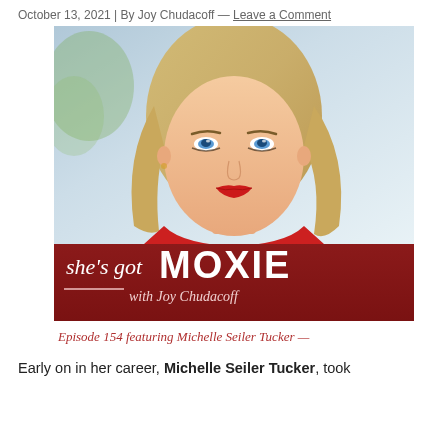October 13, 2021 | By Joy Chudacoff — Leave a Comment
[Figure (photo): Portrait photo of Michelle Seiler Tucker, a blonde woman wearing a red outfit, overlaid with 'she's got MOXIE with Joy Chudacoff' podcast branding on a dark red banner, and 'Episode 154 featuring Michelle Seiler Tucker —' text below.]
Early on in her career, Michelle Seiler Tucker, took the C...